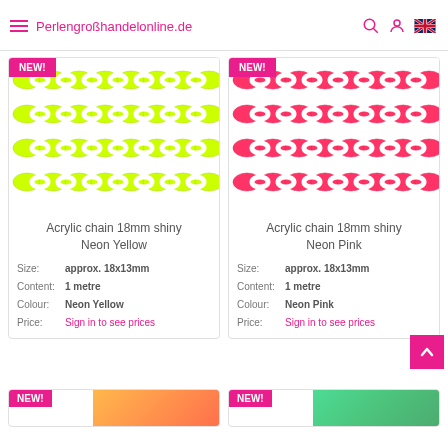Perlengroßhandelonline.de
[Figure (photo): Acrylic chain 18mm shiny Neon Yellow product image showing 4 rows of yellow chain links]
Acrylic chain 18mm shiny
Neon Yellow
Size: approx. 18x13mm
Content: 1 metre
Colour: Neon Yellow
Price: Sign in to see prices
[Figure (photo): Acrylic chain 18mm shiny Neon Pink product image showing 4 rows of pink chain links]
Acrylic chain 18mm shiny
Neon Pink
Size: approx. 18x13mm
Content: 1 metre
Colour: Neon Pink
Price: Sign in to see prices